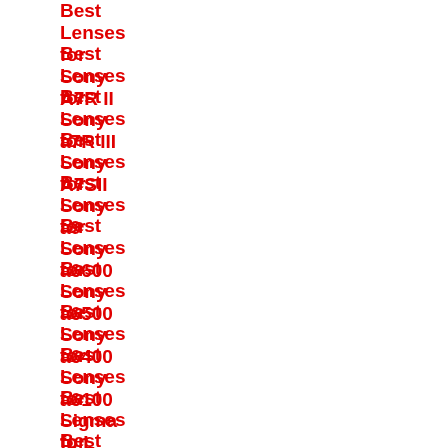Best Lenses for Sony A7R II
Best Lenses for Sony a7R III
Best Lenses for Sony A7SII
Best Lenses for Sony a9
Best Lenses for Sony a6600
Best Lenses for Sony a6500
Best Lenses for Sony a6400
Best Lenses for Sony a6100
Best Lenses for Sigma fp L
Best Lenses for Sigma fp
Best Lenses for Panasonic S1H
Best Lenses for Panasonic S1R
Best Lenses for Panasonic S1
Best Lenses for Panasonic S5